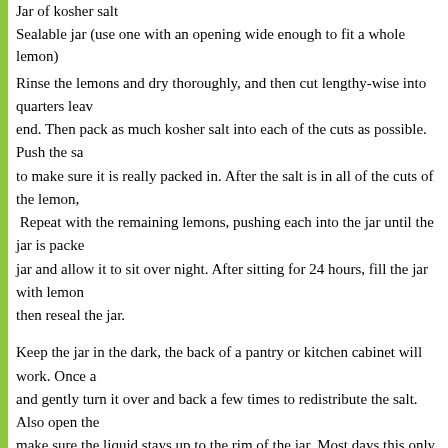Jar of kosher salt
Sealable jar (use one with an opening wide enough to fit a whole lemon)
Rinse the lemons and dry thoroughly, and then cut lengthy-wise into quarters leaving the end.  Then pack as much kosher salt into each of the cuts as possible.  Push the salt in to make sure it is really packed in.  After the salt is in all of the cuts of the lemon,  Repeat with the remaining lemons, pushing each into the jar until the jar is packed jar and allow it to sit over night.   After sitting for 24 hours, fill the jar with lemon then reseal the jar.
Keep the jar in the dark, the back of a pantry or kitchen cabinet will work.  Once a and gently turn it over and back a few times to redistribute the salt.  Also open the make sure the liquid stays up to the rim of the jar.  Most days this only took a teas some reason, the fourth day the liquid had gone down considerably, so make sure hand.
After one week, you can take the jar out of the dark, but leave it sealed for three w
Once you are ready to use preserved lemons, don't be afraid to experiment with th goes a long way. They have tremendous flavor, just keep in mind that with all of t other spices accordingly. They are wonderful to use with chicken or fish, and can the grill.  I have used them in a chicken brine before roasting, which turned out be favorite dishes…